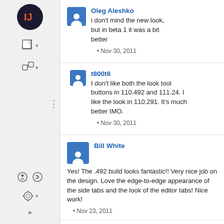Oleg Aleshko: i don't mind the new look, but in beta 1 it was a bit better • Nov 30, 2011
t800t8: I don't like both the look tool buttons in 110.492 and 111.24. I like the look in 110.291. It's much better IMO. • Nov 30, 2011
Bill White: Yes! The .492 build looks fantastic!! Very nice job on the design. Love the edge-to-edge appearance of the side tabs and the look of the editor tabs! Nice work! • Nov 23, 2011
Bill White